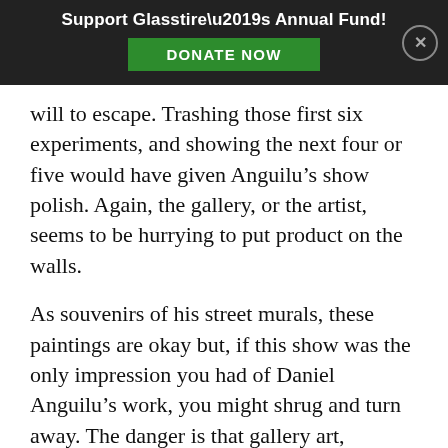Support Glasstire's Annual Fund! DONATE NOW
will to escape. Trashing those first six experiments, and showing the next four or five would have given Anguilu’s show polish. Again, the gallery, or the artist, seems to be hurrying to put product on the walls.
As souvenirs of his street murals, these paintings are okay but, if this show was the only impression you had of Daniel Anguilu’s work, you might shrug and turn away. The danger is that gallery art, especially if it gets collected, is a lot more permanent than street art. Ten years from now, these paintings